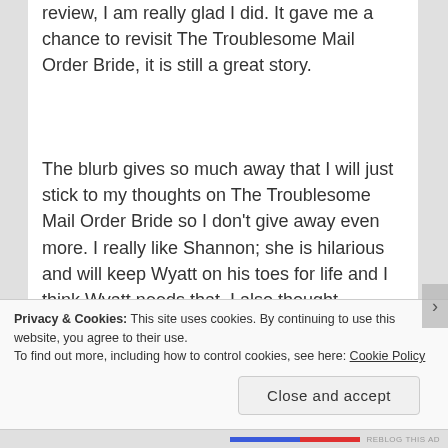review, I am really glad I did. It gave me a chance to revisit The Troublesome Mail Order Bride, it is still a great story.
The blurb gives so much away that I will just stick to my thoughts on The Troublesome Mail Order Bride so I don't give away even more. I really like Shannon; she is hilarious and will keep Wyatt on his toes for life and I think Wyatt needs that. I also thought
Privacy & Cookies: This site uses cookies. By continuing to use this website, you agree to their use.
To find out more, including how to control cookies, see here: Cookie Policy
Close and accept